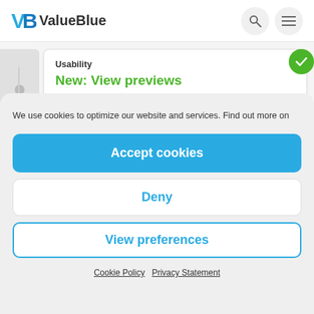VB ValueBlue
Usability
New: View previews
Preview of a View connected to an Object or Free Shape When viewing or
We use cookies to optimize our website and services. Find out more on
Accept cookies
Deny
View preferences
Cookie Policy   Privacy Statement